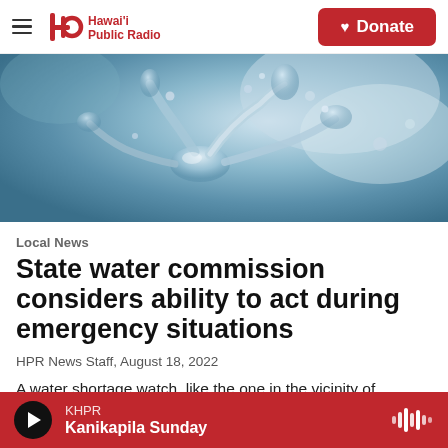Hawai'i Public Radio — Donate
[Figure (photo): Close-up macro photo of water droplets and water splashing in blue tones, abstract water movement]
Local News
State water commission considers ability to act during emergency situations
HPR News Staff,  August 18, 2022
A water shortage watch, like the one in the vicinity of
KHPR — Kanikapila Sunday